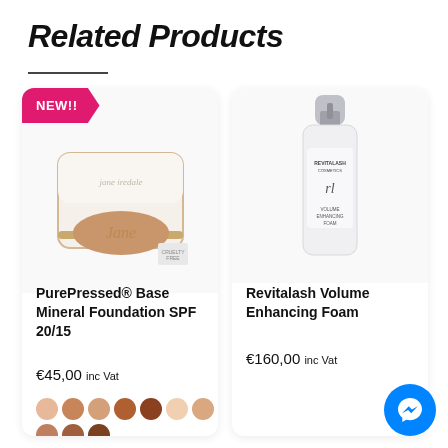Related Products
[Figure (photo): Jane Iredale PurePressed Base Mineral Foundation compact product photo with NEW!! badge]
PurePressed® Base Mineral Foundation SPF 20/15
€45,00 inc Vat
[Figure (photo): Revitalash Volume Enhancing Foam bottle product photo]
Revitalash Volume Enhancing Foam
€160,00 inc Vat